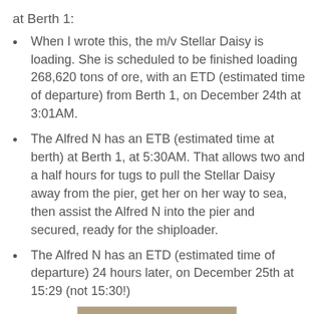at Berth 1:
When I wrote this, the m/v Stellar Daisy is loading. She is scheduled to be finished loading 268,620 tons of ore, with an ETD (estimated time of departure) from Berth 1, on December 24th at 3:01AM.
The Alfred N has an ETB (estimated time at berth) at Berth 1, at 5:30AM. That allows two and a half hours for tugs to pull the Stellar Daisy away from the pier, get her on her way to sea, then assist the Alfred N into the pier and secured, ready for the shiploader.
The Alfred N has an ETD (estimated time of departure) 24 hours later, on December 25th at 15:29 (not 15:30!)
[Figure (photo): A tugboat or small vessel on water, grayscale/sepia tone photograph]